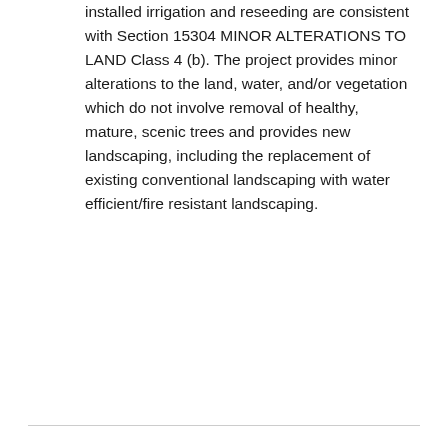installed irrigation and reseeding are consistent with Section 15304 MINOR ALTERATIONS TO LAND Class 4 (b). The project provides minor alterations to the land, water, and/or vegetation which do not involve removal of healthy, mature, scenic trees and provides new landscaping, including the replacement of existing conventional landscaping with water efficient/fire resistant landscaping.